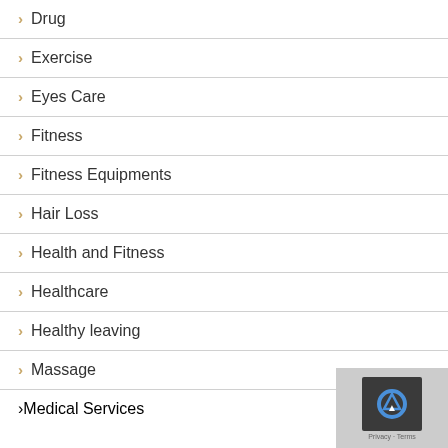Drug
Exercise
Eyes Care
Fitness
Fitness Equipments
Hair Loss
Health and Fitness
Healthcare
Healthy leaving
Massage
Medical Services